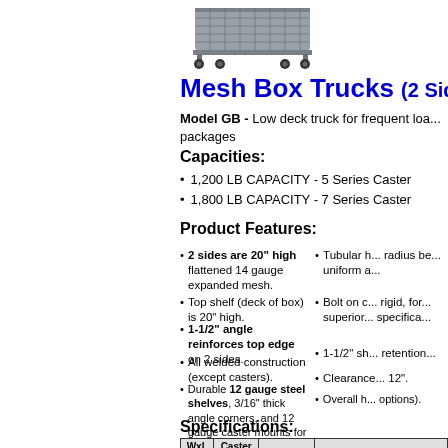[Figure (photo): Photo of a mesh box truck with casters, gray metal construction, viewed from the side/front]
Mesh Box Trucks (2 Sided
Model GB - Low deck truck for frequent loa... packages
Capacities:
1,200 LB CAPACITY - 5 Series Caster
1,800 LB CAPACITY - 7 Series Caster
Product Features:
2 sides are 20" high flattened 14 gauge expanded mesh.
Top shelf (deck of box) is 20" high.
1-1/2" angle reinforces top edge on 2 sides.
All welded construction (except casters).
Durable 12 gauge steel shelves, 3/16" thick angle corners, and 12 gauge caster mounts for long lasting use.
Tubular h... radius be... uniform a...
Bolt on c... rigid, for... superior... specifica...
1-1/2" sh... retention...
Clearance... 12".
Overall h... options).
Specifications:
| WxL | Caster Series | Capacity | Casters Type Cat. No.'s — Poly | Casters Type Cat. No.'s — Rubber | Casters Type Cat. No.'s — Alloy |
| --- | --- | --- | --- | --- | --- |